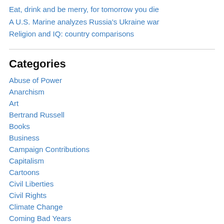Eat, drink and be merry, for tomorrow you die
A U.S. Marine analyzes Russia's Ukraine war
Religion and IQ: country comparisons
Categories
Abuse of Power
Anarchism
Art
Bertrand Russell
Books
Business
Campaign Contributions
Capitalism
Cartoons
Civil Liberties
Civil Rights
Climate Change
Coming Bad Years
Corrections